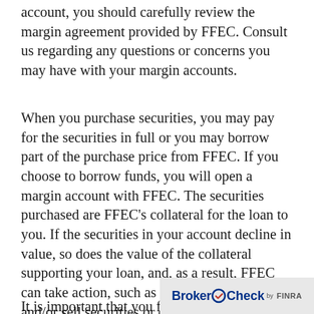account, you should carefully review the margin agreement provided by FFEC. Consult us regarding any questions or concerns you may have with your margin accounts.
When you purchase securities, you may pay for the securities in full or you may borrow part of the purchase price from FFEC. If you choose to borrow funds, you will open a margin account with FFEC. The securities purchased are FFEC's collateral for the loan to you. If the securities in your account decline in value, so does the value of the collateral supporting your loan, and, as a result, FFEC can take action, such as issue a margin call and/or sell securities or other assets in any of your accounts held with the member, in order to maintain the required equ
It is important that you full